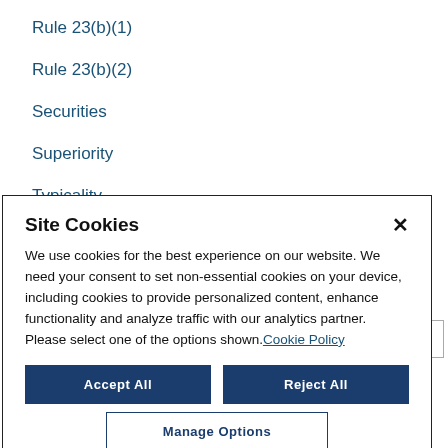Rule 23(b)(1)
Rule 23(b)(2)
Securities
Superiority
Typicality
Site Cookies
We use cookies for the best experience on our website. We need your consent to set non-essential cookies on your device, including cookies to provide personalized content, enhance functionality and analyze traffic with our analytics partner. Please select one of the options shown. Cookie Policy